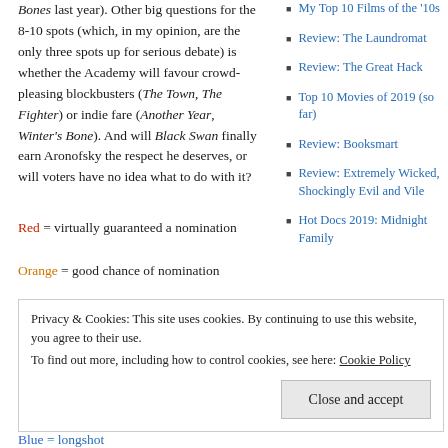Bones last year). Other big questions for the 8-10 spots (which, in my opinion, are the only three spots up for serious debate) is whether the Academy will favour crowd-pleasing blockbusters (The Town, The Fighter) or indie fare (Another Year, Winter's Bone). And will Black Swan finally earn Aronofsky the respect he deserves, or will voters have no idea what to do with it?
Red = virtually guaranteed a nomination
Orange = good chance of nomination
My Top 10 Films of the '10s
Review: The Laundromat
Review: The Great Hack
Top 10 Movies of 2019 (so far)
Review: Booksmart
Review: Extremely Wicked, Shockingly Evil and Vile
Hot Docs 2019: Midnight Family
Privacy & Cookies: This site uses cookies. By continuing to use this website, you agree to their use. To find out more, including how to control cookies, see here: Cookie Policy
Blue = longshot